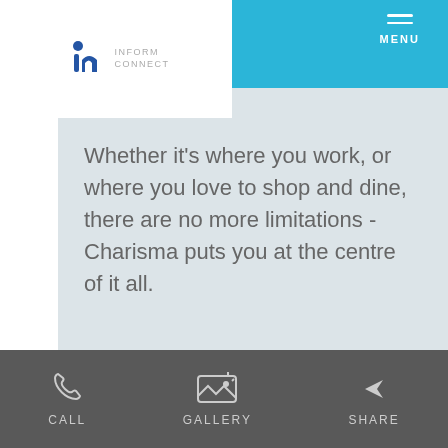MENU
[Figure (logo): Inform Connect logo with blue 'n' icon and gray text]
Whether it's where you work, or where you love to shop and dine, there are no more limitations - Charisma puts you at the centre of it all.
Price: Complete Registration to Reveal Pricing
OVERVIEW
Charisma - Phase II is a new condo development by Greenpark Group currently in preconstruction at
CALL  GALLERY  SHARE